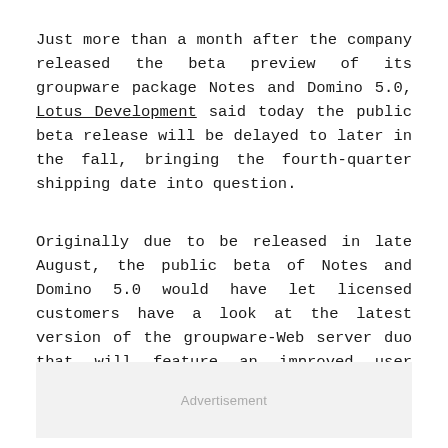Just more than a month after the company released the beta preview of its groupware package Notes and Domino 5.0, Lotus Development said today the public beta release will be delayed to later in the fall, bringing the fourth-quarter shipping date into question.
Originally due to be released in late August, the public beta of Notes and Domino 5.0 would have let licensed customers have a look at the latest version of the groupware-Web server duo that will feature an improved user interface, enhanced real-time messaging features, and support for Java applets.
Advertisement